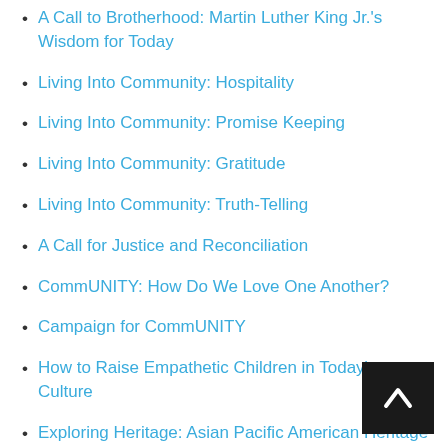A Call to Brotherhood: Martin Luther King Jr.'s Wisdom for Today
Living Into Community: Hospitality
Living Into Community: Promise Keeping
Living Into Community: Gratitude
Living Into Community: Truth-Telling
A Call for Justice and Reconciliation
CommUNITY: How Do We Love One Another?
Campaign for CommUNITY
How to Raise Empathetic Children in Today's Culture
Exploring Heritage: Asian Pacific American Heritage Month
Imageo Dei: Why Diversity Matters
We Are One People
One Language, 21 Cultures: Celebrating Hispanic...